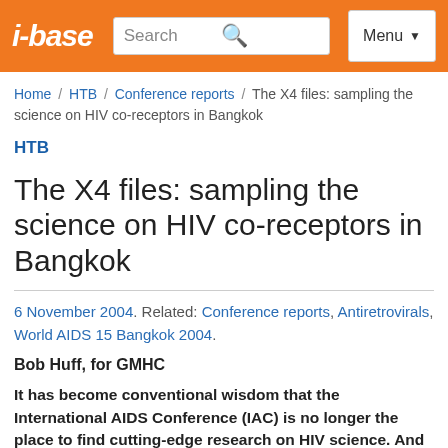i-base | Search | Menu
Home / HTB / Conference reports / The X4 files: sampling the science on HIV co-receptors in Bangkok
HTB
The X4 files: sampling the science on HIV co-receptors in Bangkok
6 November 2004. Related: Conference reports, Antiretrovirals, World AIDS 15 Bangkok 2004.
Bob Huff, for GMHC
It has become conventional wisdom that the International AIDS Conference (IAC) is no longer the place to find cutting-edge research on HIV science. And although Track A, the basic science track at the